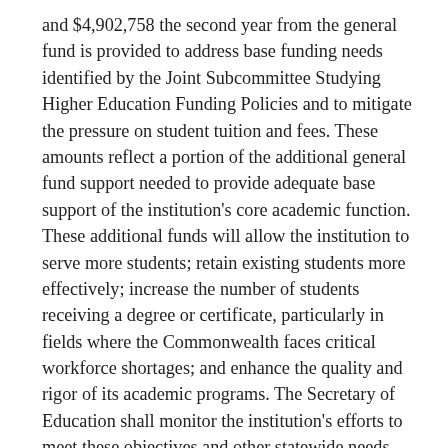and $4,902,758 the second year from the general fund is provided to address base funding needs identified by the Joint Subcommittee Studying Higher Education Funding Policies and to mitigate the pressure on student tuition and fees. These amounts reflect a portion of the additional general fund support needed to provide adequate base support of the institution's core academic function. These additional funds will allow the institution to serve more students; retain existing students more effectively; increase the number of students receiving a degree or certificate, particularly in fields where the Commonwealth faces critical workforce shortages; and enhance the quality and rigor of its academic programs. The Secretary of Education shall monitor the institution's efforts to meet these objectives and other statewide needs.